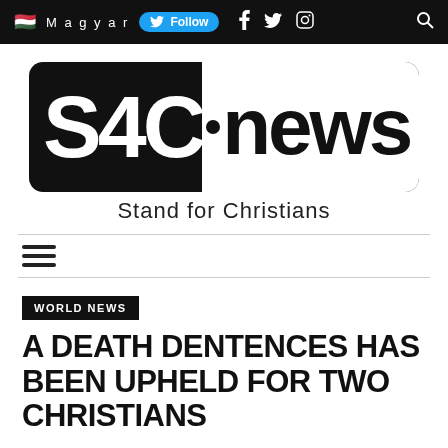Magyar  Follow  f  Twitter  Instagram  Search
[Figure (logo): S4C news logo — black rounded rectangle with white 'S4C' text on dark side and 'news' on white side, with tagline 'Stand for Christians' below]
≡
WORLD NEWS
A DEATH DENTENCES HAS BEEN UPHELD FOR TWO CHRISTIANS